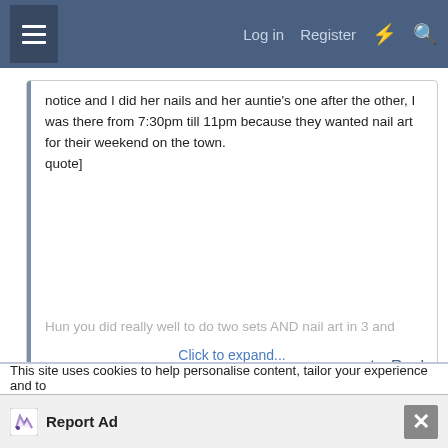Log in  Register
notice and I did her nails and her auntie's one after the other, I was there from 7:30pm till 11pm because they wanted nail art for their weekend on the town.
quote]
Hun you did really well to do two sets AND nail art in 3 and
Click to expand...
Reply
Oct 28, 2007  #18
blossom
Well-Known Member
This site uses cookies to help personalise content, tailor your experience and to
Report Ad